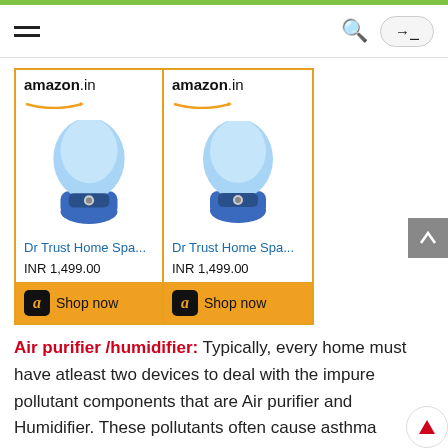Navigation bar with hamburger menu, search icon, and login button
[Figure (screenshot): Two Amazon.in product cards showing Dr Trust Home Spa steamer, each priced at INR 1,499.00 with Shop now buttons]
Air purifier /humidifier: Typically, every home must have atleast two devices to deal with the impure pollutant components that are Air purifier and Humidifier. These pollutants often cause asthma attacks, sinus, or some allergic problems.